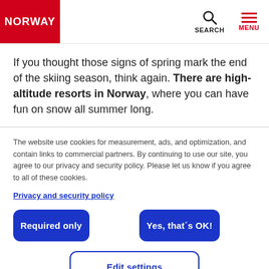NORWAY | SEARCH | MENU
If you thought those signs of spring mark the end of the skiing season, think again. There are high-altitude resorts in Norway, where you can have fun on snow all summer long.
The website use cookies for measurement, ads, and optimization, and contain links to commercial partners. By continuing to use our site, you agree to our privacy and security policy. Please let us know if you agree to all of these cookies.
Privacy and security policy
Required only
Yes, that´s OK!
Edit settings